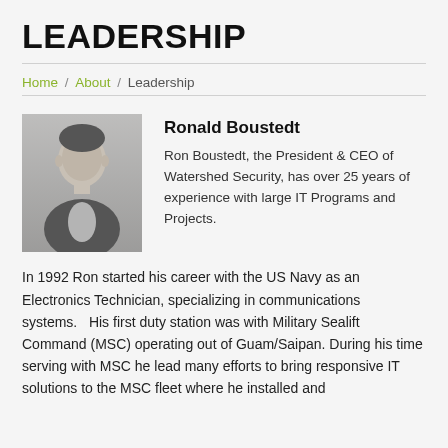LEADERSHIP
Home / About / Leadership
[Figure (photo): Black and white headshot photo of Ronald Boustedt, a middle-aged man in a suit jacket]
Ronald Boustedt
Ron Boustedt, the President & CEO of Watershed Security, has over 25 years of experience with large IT Programs and Projects.
In 1992 Ron started his career with the US Navy as an Electronics Technician, specializing in communications systems.   His first duty station was with Military Sealift Command (MSC) operating out of Guam/Saipan. During his time serving with MSC he lead many efforts to bring responsive IT solutions to the MSC fleet where he installed and